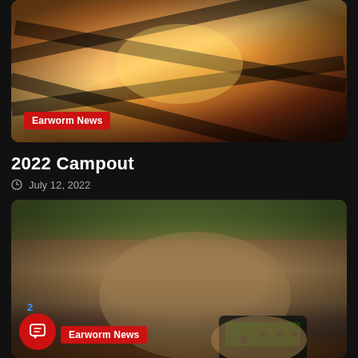[Figure (photo): Campfire photo showing burning logs and flames with warm orange glow]
Earworm News
2022 Campout
July 12, 2022
[Figure (photo): Person holding and operating a black electronic device outdoors on grass/dirt ground]
Earworm News